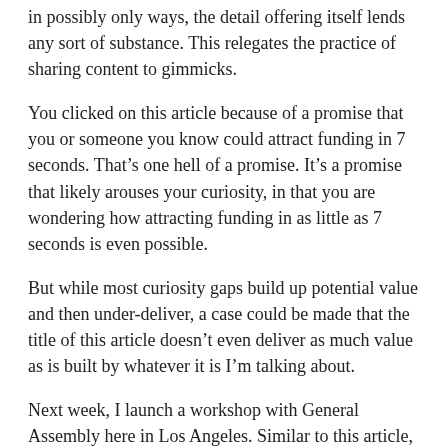in possibly only ways, the detail offering itself lends any sort of substance. This relegates the practice of sharing content to gimmicks.
You clicked on this article because of a promise that you or someone you know could attract funding in 7 seconds. That’s one hell of a promise. It’s a promise that likely arouses your curiosity, in that you are wondering how attracting funding in as little as 7 seconds is even possible.
But while most curiosity gaps build up potential value and then under-deliver, a case could be made that the title of this article doesn’t even deliver as much value as is built by whatever it is I’m talking about.
Next week, I launch a workshop with General Assembly here in Los Angeles. Similar to this article, it is a promise that something will happen in 7